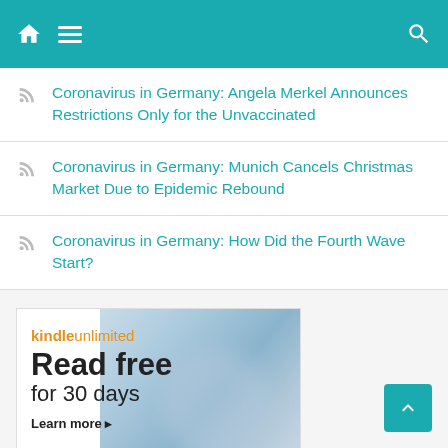Navigation header with home, menu, and search icons
Coronavirus in Germany: Angela Merkel Announces Restrictions Only for the Unvaccinated
Coronavirus in Germany: Munich Cancels Christmas Market Due to Epidemic Rebound
Coronavirus in Germany: How Did the Fourth Wave Start?
[Figure (screenshot): Kindle Unlimited advertisement: 'Read free for 30 days. Learn more ▸' with blurred book/device background image]